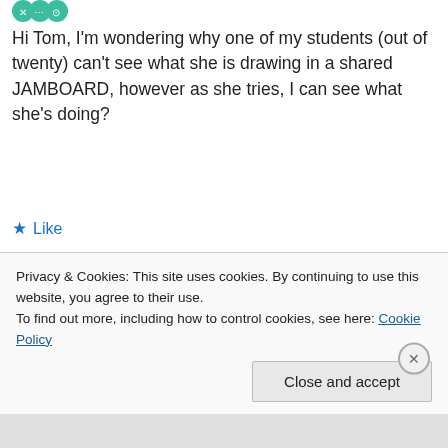[Figure (logo): Green circular logo/icon]
Hi Tom, I'm wondering why one of my students (out of twenty) can't see what she is drawing in a shared JAMBOARD, however as she tries, I can see what she's doing?
★ Like
^ Reply
Tom Mullaney
September 28, 2020 at 6:44 PM
Privacy & Cookies: This site uses cookies. By continuing to use this website, you agree to their use.
To find out more, including how to control cookies, see here: Cookie Policy
Close and accept